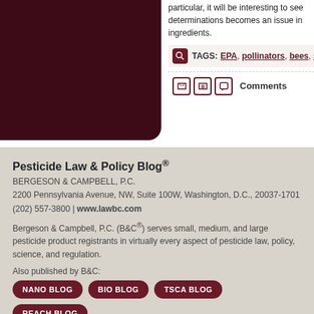particular, it will be interesting to see determinations becomes an issue in ingredients.
TAGS: EPA, pollinators, bees, sulf
Comments
Pesticide Law & Policy Blog® BERGESON & CAMPBELL, P.C. 2200 Pennsylvania Avenue, NW, Suite 100W, Washington, D.C., 20037-1701 (202) 557-3800 | www.lawbc.com
Bergeson & Campbell, P.C. (B&C®) serves small, medium, and large pesticide product registrants in virtually every aspect of pesticide law, policy, science, and regulation.
Also published by B&C:
NANO BLOG   BIO BLOG   TSCA BLOG   REACH BLOG
Copyright © 2022, Bergeson & Campbell, P.C. All Rights Reserved.